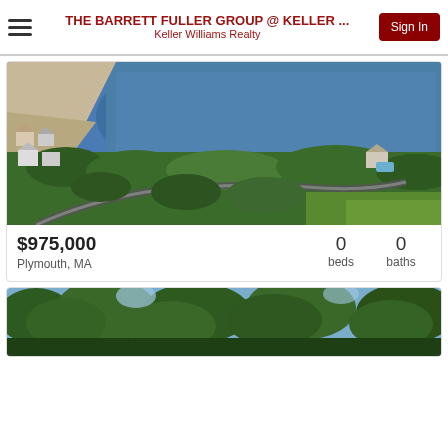THE BARRETT FULLER GROUP @ KELLER ... | Keller Williams Realty | Sign In
[Figure (photo): Aerial drone photo of a coastal property in Plymouth, MA showing water, green trees, a winding road, and houses along the shoreline.]
$975,000
Plymouth, MA
0 beds
0 baths
[Figure (photo): Partial photo of trees against a sky, bottom of the page — second property listing image.]